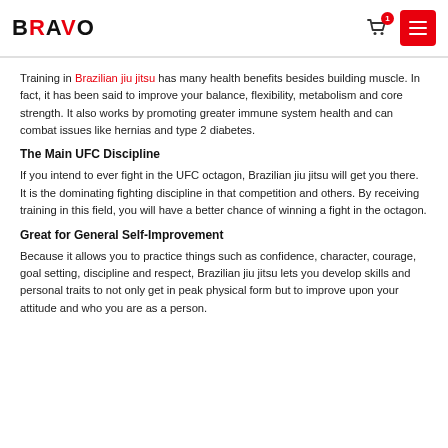BRAVO [logo with cart and menu icons]
Training in Brazilian jiu jitsu has many health benefits besides building muscle. In fact, it has been said to improve your balance, flexibility, metabolism and core strength. It also works by promoting greater immune system health and can combat issues like hernias and type 2 diabetes.
The Main UFC Discipline
If you intend to ever fight in the UFC octagon, Brazilian jiu jitsu will get you there.  It is the dominating fighting discipline in that competition and others. By receiving training in this field, you will have a better chance of winning a fight in the octagon.
Great for General Self-Improvement
Because it allows you to practice things such as confidence, character, courage, goal setting, discipline and respect, Brazilian jiu jitsu lets you develop skills and personal traits to not only get in peak physical form but to improve upon your attitude and who you are as a person.